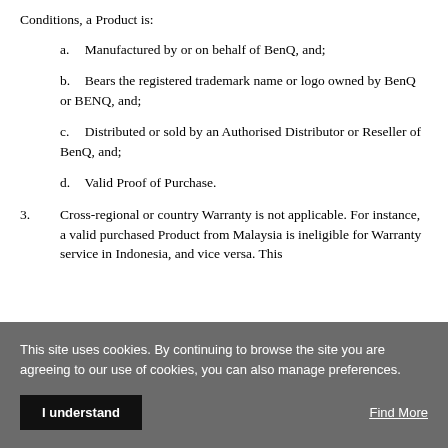Conditions, a Product is:
a.  Manufactured by or on behalf of BenQ, and;
b.  Bears the registered trademark name or logo owned by BenQ or BENQ, and;
c.  Distributed or sold by an Authorised Distributor or Reseller of BenQ, and;
d.  Valid Proof of Purchase.
3.      Cross-regional or country Warranty is not applicable. For instance, a valid purchased Product from Malaysia is ineligible for Warranty service in Indonesia, and vice versa. This
This site uses cookies. By continuing to browse the site you are agreeing to our use of cookies, you can also manage preferences.